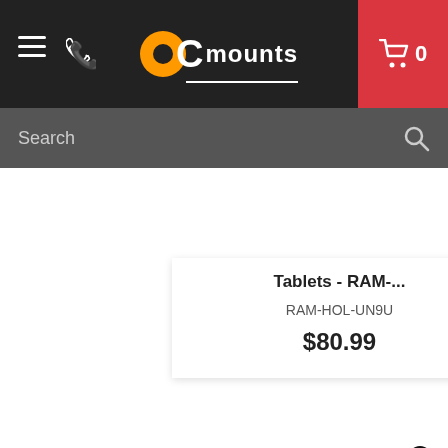[Figure (screenshot): OC Mounts e-commerce website header with hamburger menu, phone icon, OC Mounts logo, and red cart button showing 0 items]
Search
Tablets - RAM-...
RAM-HOL-UN9U
$80.99
Free Shipping
IN STOCK
RAM-B-149Z-